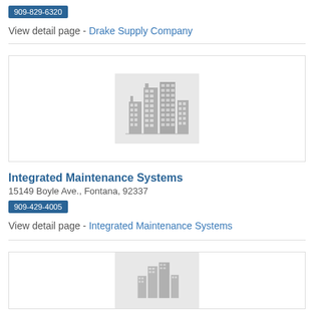909-829-6320
View detail page - Drake Supply Company
[Figure (illustration): Placeholder building/skyline icon on gray background]
Integrated Maintenance Systems
15149 Boyle Ave., Fontana, 92337
909-429-4005
View detail page - Integrated Maintenance Systems
[Figure (illustration): Placeholder building/skyline icon on gray background (partial, bottom of page)]